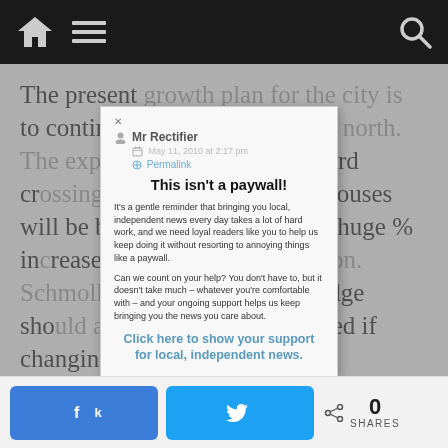Navigation bar with home, menu, and search icons
The present growth plan for the city is to continue expanding west and north. The expectation is that if the third crossing is built, thousands of houses will be built on the west side, a huge % increase in the present population. Schmolka's argument is the bridge should advance priorities decided if changing the growth plan is undesirable. Braebury already owns vast amounts of land on the east side they bought in anticipation of building
[Figure (screenshot): Popup modal overlay with title 'This isn't a paywall!', body text about supporting local independent news, and a call-to-action link]
Facebook share button, Twitter share button, 0 SHARES